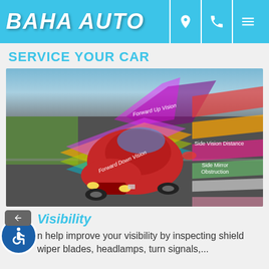BAHA AUTO
SERVICE YOUR CAR
[Figure (illustration): Aerial view of a red Cadillac car on a racetrack with colored overlay zones indicating Forward Up Vision, Forward Down Vision, Side Vision Distance, and Side Mirror Obstruction visibility areas]
Visibility
n help improve your visibility by inspecting shield wiper blades, headlamps, turn signals,...